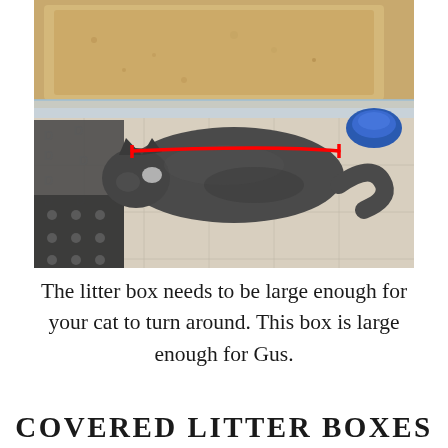[Figure (photo): Top-down photo of a gray cat standing in a clear plastic litter box filled with cat litter. A red horizontal measurement line with end-caps spans the length of the cat from head to tail. To the left is a dark mat with letter D patterns and polka dots. A blue bowl is visible in the top right. The floor has light tile squares.]
The litter box needs to be large enough for your cat to turn around. This box is large enough for Gus.
COVERED LITTER BOXES